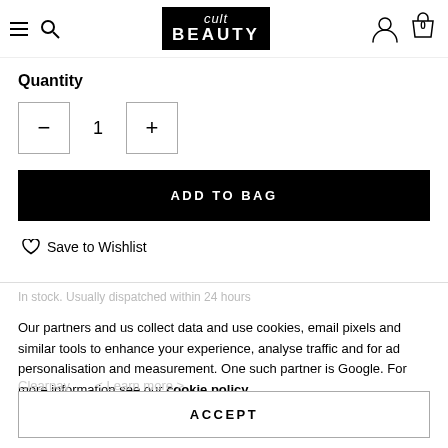[Figure (logo): Cult Beauty logo — white text on black background, with 'cult' in italic script above 'BEAUTY' in bold uppercase]
Quantity
[Figure (other): Quantity selector with minus button, number 1, and plus button]
ADD TO BAG
Save to Wishlist
In stock. Usually dispatched within 24 hours
Our partners and us collect data and use cookies, email pixels and similar tools to enhance your experience, analyse traffic and for ad personalisation and measurement. One such partner is Google. For more information see our cookie policy
ACCEPT